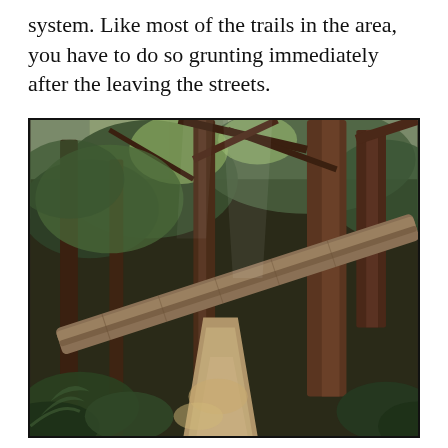system. Like most of the trails in the area, you have to do so grunting immediately after the leaving the streets.
[Figure (photo): A forest trail with tall trees, dense green foliage, and a fallen log crossing diagonally over the dirt path. Sunlight filters through the tree canopy.]